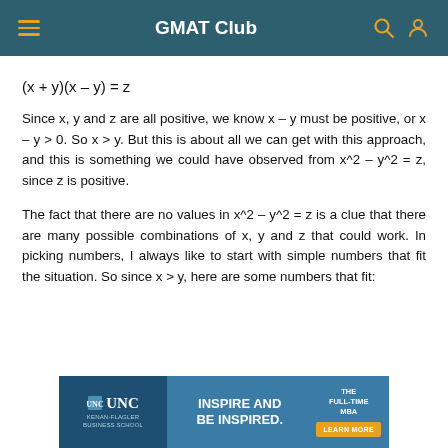GMAT Club
Since x, y and z are all positive, we know x – y must be positive, or x – y > 0. So x > y. But this is about all we can get with this approach, and this is something we could have observed from x^2 – y^2 = z, since z is positive.
The fact that there are no values in x^2 – y^2 = z is a clue that there are many possible combinations of x, y and z that could work. In picking numbers, I always like to start with simple numbers that fit the situation. So since x > y, here are some numbers that fit:
[Figure (other): UNC Kenan-Flagler Business School advertisement banner with text 'INSPIRE AND BE INSPIRED. THE FULL-TIME MBA' and a 'LEARN MORE' button]